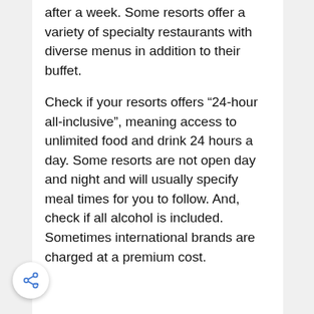after a week. Some resorts offer a variety of specialty restaurants with diverse menus in addition to their buffet.
Check if your resorts offers “24-hour all-inclusive”, meaning access to unlimited food and drink 24 hours a day. Some resorts are not open day and night and will usually specify meal times for you to follow. And, check if all alcohol is included. Sometimes international brands are charged at a premium cost.